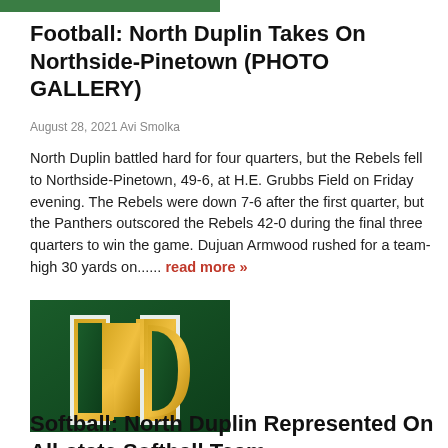[Figure (illustration): Green horizontal bar at top left]
Football: North Duplin Takes On Northside-Pinetown (PHOTO GALLERY)
August 28, 2021 Avi Smolka
North Duplin battled hard for four quarters, but the Rebels fell to Northside-Pinetown, 49-6, at H.E. Grubbs Field on Friday evening. The Rebels were down 7-6 after the first quarter, but the Panthers outscored the Rebels 42-0 during the final three quarters to win the game. Dujuan Armwood rushed for a team-high 30 yards on...... read more »
[Figure (logo): Notre Dame style ND interlocking logo in gold on dark green background]
Softball: North Duplin Represented On All-state Softball Team